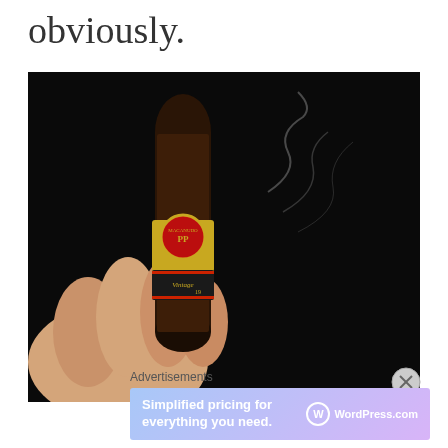obviously.
[Figure (photo): A hand holding a dark cigar (Macanudo Vintage) with a gold and red band label, smoke rising, against a dark background.]
Advertisements
[Figure (infographic): WordPress.com advertisement banner: 'Simplified pricing for everything you need.' with WordPress.com logo on gradient blue-purple background.]